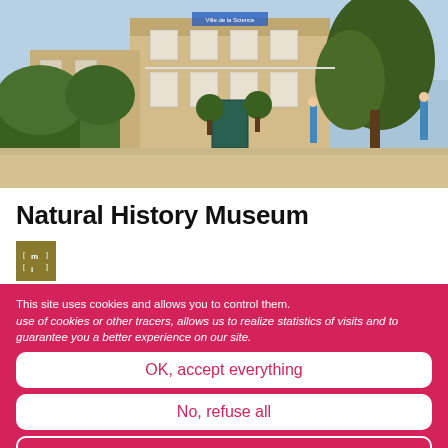[Figure (photo): Outdoor photo of a classical stone building (Natural History Museum) with green hedges, trees, people, and a blue sky]
Natural History Museum
[Figure (logo): Museum logo badge in golden/olive color with stylized letters m and brackets]
This site uses cookies and allows you to control them. use of cookies or other tracers, allows us to realize statistics of visits and to guarantee you a better experience on our site.
OK, accept everything
No, refuse all
Personalize